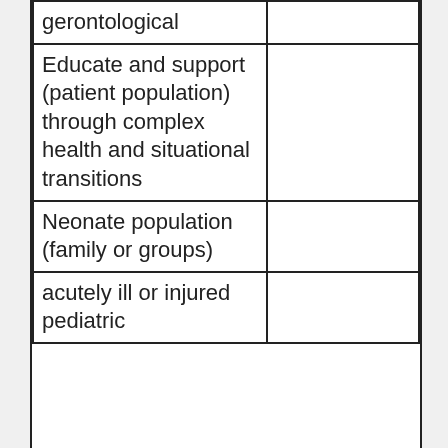| gerontological |  |
| Educate and support (patient population) through complex health and situational transitions |  |
| Neonate population (family or groups) |  |
| acutely ill or injured pediatric |  |